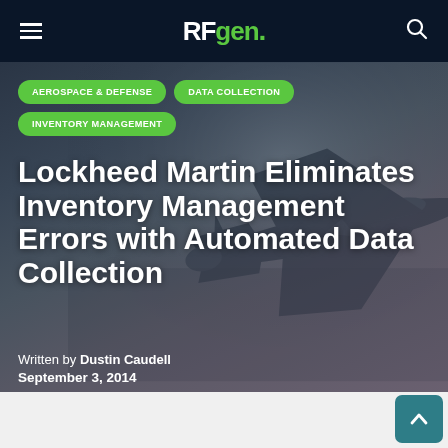RFgen.
AEROSPACE & DEFENSE
DATA COLLECTION
INVENTORY MANAGEMENT
Lockheed Martin Eliminates Inventory Management Errors with Automated Data Collection
Written by Dustin Caudell
September 3, 2014
[Figure (photo): Fighter jet (military aircraft) flying against a dark sky, shown from below at an angle, forming the hero background image]